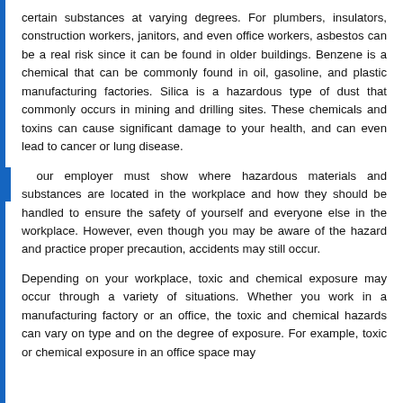certain substances at varying degrees. For plumbers, insulators, construction workers, janitors, and even office workers, asbestos can be a real risk since it can be found in older buildings. Benzene is a chemical that can be commonly found in oil, gasoline, and plastic manufacturing factories. Silica is a hazardous type of dust that commonly occurs in mining and drilling sites. These chemicals and toxins can cause significant damage to your health, and can even lead to cancer or lung disease.
Your employer must show where hazardous materials and substances are located in the workplace and how they should be handled to ensure the safety of yourself and everyone else in the workplace. However, even though you may be aware of the hazard and practice proper precaution, accidents may still occur.
Depending on your workplace, toxic and chemical exposure may occur through a variety of situations. Whether you work in a manufacturing factory or an office, the toxic and chemical hazards can vary on type and on the degree of exposure. For example, toxic or chemical exposure in an office space may